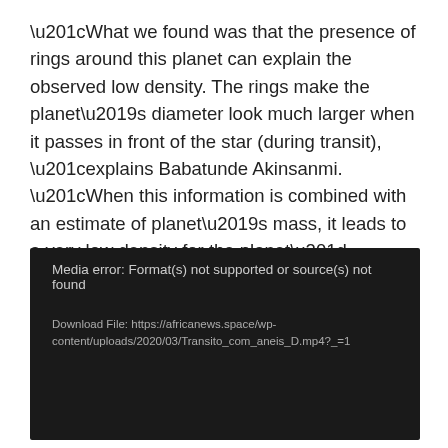“What we found was that the presence of rings around this planet can explain the observed low density. The rings make the planet’s diameter look much larger when it passes in front of the star (during transit), “explains Babatunde Akinsanmi. “When this information is combined with an estimate of planet’s mass, it leads to a very low density for the planet”, explains the astrophysicist, who is developing his research under a PhD:: SPACE grant.
[Figure (screenshot): Media player error box with dark background showing: 'Media error: Format(s) not supported or source(s) not found' and 'Download File: https://africanews.space/wp-content/uploads/2020/03/Transito_com_aneis_D.mp4?_=1']